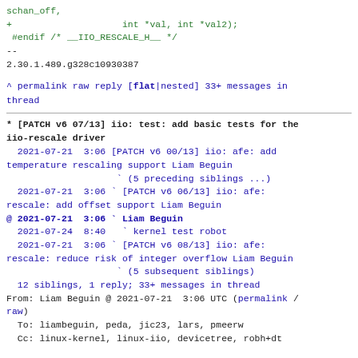schan_off,
+                    int *val, int *val2);
 #endif /* __IIO_RESCALE_H__ */
--
2.30.1.489.g328c10930387
^ permalink raw reply  [flat|nested] 33+ messages in thread
* [PATCH v6 07/13] iio: test: add basic tests for the iio-rescale driver
2021-07-21  3:06 [PATCH v6 00/13] iio: afe: add temperature rescaling support Liam Beguin
                    ` (5 preceding siblings ...)
  2021-07-21  3:06 ` [PATCH v6 06/13] iio: afe: rescale: add offset support Liam Beguin
@ 2021-07-21  3:06 ` Liam Beguin
  2021-07-24  8:40   ` kernel test robot
  2021-07-21  3:06 ` [PATCH v6 08/13] iio: afe: rescale: reduce risk of integer overflow Liam Beguin
                    ` (5 subsequent siblings)
  12 siblings, 1 reply; 33+ messages in thread
From: Liam Beguin @ 2021-07-21  3:06 UTC (permalink / raw)
  To: liambeguin, peda, jic23, lars, pmeerw
  Cc: linux-kernel, linux-iio, devicetree, robh+dt

From: Liam Beguin <lvb@xiphos.com>